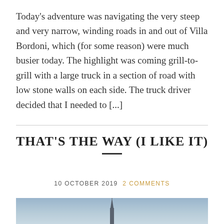Today's adventure was navigating the very steep and very narrow, winding roads in and out of Villa Bordoni, which (for some reason) were much busier today.  The highlight was coming grill-to-grill with a large truck in a section of road with low stone walls on each side.  The truck driver decided that I needed to [...]
THAT'S THE WAY (I LIKE IT)
10 OCTOBER 2019  2 COMMENTS
[Figure (photo): Partial photo of a steeple or church spire against a grey-blue sky]